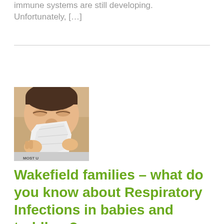immune systems are still developing. Unfortunately, […]
[Figure (photo): Close-up photo of a young child blowing their nose into a white tissue, eyes squeezed shut]
Wakefield families – what do you know about Respiratory Infections in babies and toddlers?